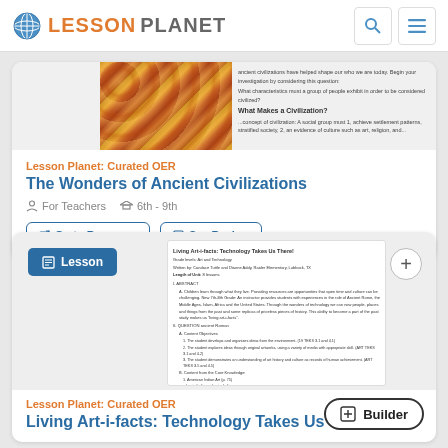LESSON PLANET
[Figure (screenshot): Card for 'The Wonders of Ancient Civilizations' lesson resource with thumbnail image of ancient artifact patterns and text preview]
Lesson Planet: Curated OER
The Wonders of Ancient Civilizations
For Teachers  6th - 9th
Go to Resource  See Review
[Figure (screenshot): Card for 'Living Art-i-facts: Technology Takes Us There!' lesson with document preview showing lesson plan text]
Lesson Planet: Curated OER
Living Art-i-facts: Technology Takes Us There!